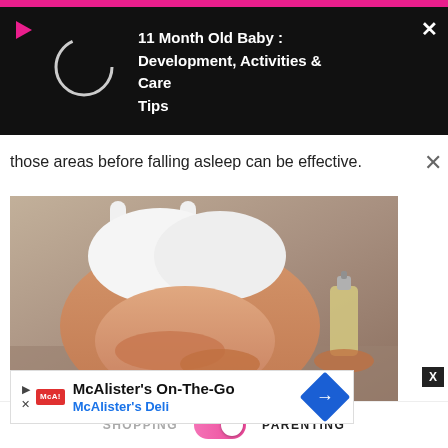[Figure (screenshot): Video overlay on dark background showing a play button and circle loading indicator on the left, with title '11 Month Old Baby : Development, Activities & Care Tips' on the right in white bold text]
those areas before falling asleep can be effective.
[Figure (photo): Photo of a pregnant woman in white crop top lying down, holding her belly with one hand; another hand holds a small bottle of oil]
[Figure (screenshot): Advertisement banner for McAlister's On-The-Go / McAlister's Deli with logo and navigation icon]
SHOPPING   PARENTING